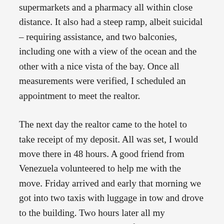supermarkets and a pharmacy all within close distance. It also had a steep ramp, albeit suicidal – requiring assistance, and two balconies, including one with a view of the ocean and the other with a nice vista of the bay. Once all measurements were verified, I scheduled an appointment to meet the realtor.
The next day the realtor came to the hotel to take receipt of my deposit. All was set, I would move there in 48 hours. A good friend from Venezuela volunteered to help me with the move. Friday arrived and early that morning we got into two taxis with luggage in tow and drove to the building. Two hours later all my belongings were on the ninth floor, awaiting the contract and final payment. As soon I got things settled I headed to the back balcony. That is when I realized the bathroom